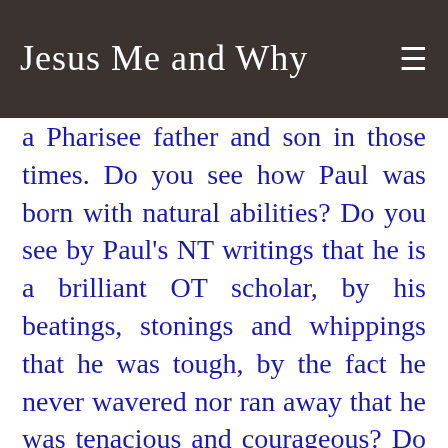Jesus Me and Why
a Pharisee father and son in those times. Do you see how Paul was born with natural abilities? Do you see by Paul's NT writings that he is a brilliant OT scholar, by his beatings, stonings and whippings that he was tough, by the fact he never wavered nor ran away that he was tenacious and courageous? Do you see the shaping of Paul's character? Do you see how badly Paul wanted to serve God in the Pharisee tradition and by the example set by ancient Jewish hero deliverers?